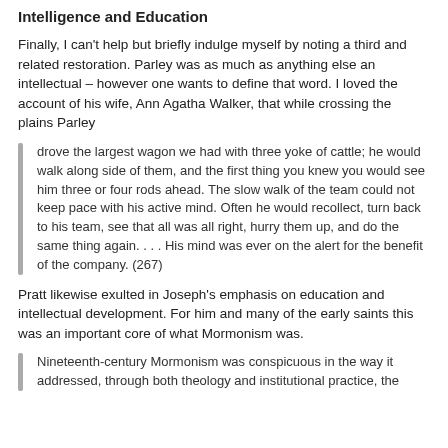Intelligence and Education
Finally, I can't help but briefly indulge myself by noting a third and related restoration. Parley was as much as anything else an intellectual – however one wants to define that word. I loved the account of his wife, Ann Agatha Walker, that while crossing the plains Parley
drove the largest wagon we had with three yoke of cattle; he would walk along side of them, and the first thing you knew you would see him three or four rods ahead. The slow walk of the team could not keep pace with his active mind. Often he would recollect, turn back to his team, see that all was all right, hurry them up, and do the same thing again. . . . His mind was ever on the alert for the benefit of the company. (267)
Pratt likewise exulted in Joseph's emphasis on education and intellectual development. For him and many of the early saints this was an important core of what Mormonism was.
Nineteenth-century Mormonism was conspicuous in the way it addressed, through both theology and institutional practice, the